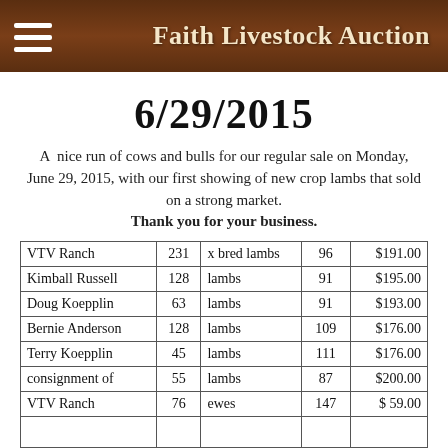Faith Livestock Auction
6/29/2015
A  nice run of cows and bulls for our regular sale on Monday, June 29, 2015, with our first showing of new crop lambs that sold on a strong market.
Thank you for your business.
| VTV Ranch | 231 | x bred lambs | 96 | $191.00 |
| Kimball Russell | 128 | lambs | 91 | $195.00 |
| Doug Koepplin | 63 | lambs | 91 | $193.00 |
| Bernie Anderson | 128 | lambs | 109 | $176.00 |
| Terry Koepplin | 45 | lambs | 111 | $176.00 |
| consignment of | 55 | lambs | 87 | $200.00 |
| VTV Ranch | 76 | ewes | 147 | $ 59.00 |
|  |  |  |  |  |
| JX Ranch | 20 | blk cows | 1526 | $112.50 |
|  |  |  |  |  |